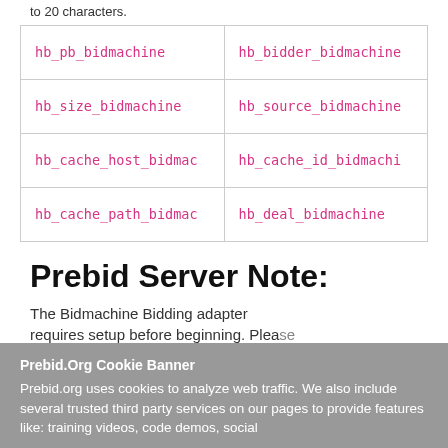to 20 characters.
| hb_pb_bidmachine | hb_bidder_bidmachine |
| hb_size_bidmachine | hb_source_bidmachine |
| hb_cache_host_bidmac | hb_cache_id_bidmachi |
| hb_cache_path_bidmac | hb_deal_bidmachine |
Prebid Server Note:
The Bidmachine Bidding adapter requires setup before beginning. Please
Prebid.Org Cookie Banner
Prebid.org uses cookies to analyze web traffic. We also include several trusted third party services on our pages to provide features like: training videos, code demos, social